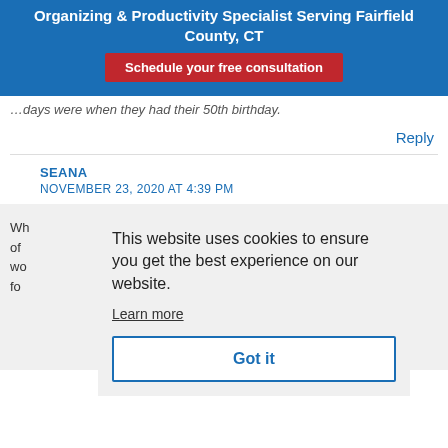Organizing & Productivity Specialist Serving Fairfield County, CT
Schedule your free consultation
…days were when they had their 50th birthday.
Reply
SEANA
NOVEMBER 23, 2020 AT 4:39 PM
Wh… of… wo… fo…
This website uses cookies to ensure you get the best experience on our website. Learn more Got it